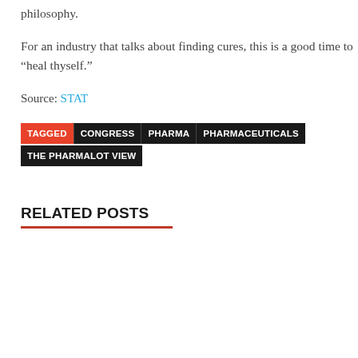philosophy.
For an industry that talks about finding cures, this is a good time to “heal thyself.”
Source: STAT
TAGGED CONGRESS PHARMA PHARMACEUTICALS THE PHARMALOT VIEW
RELATED POSTS